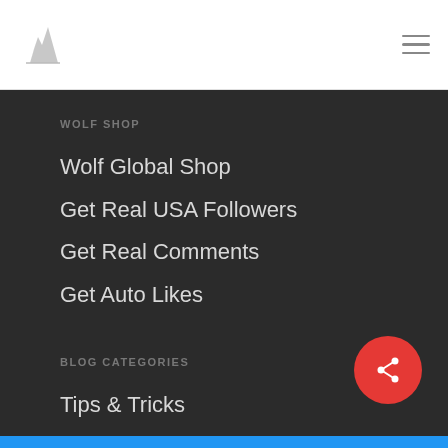Wolf logo and hamburger menu
WOLF SHOP
Wolf Global Shop
Get Real USA Followers
Get Real Comments
Get Auto Likes
BLOG CATEGORIES
Tips & Tricks
Photography & Content
Wolf Updates
From the Press